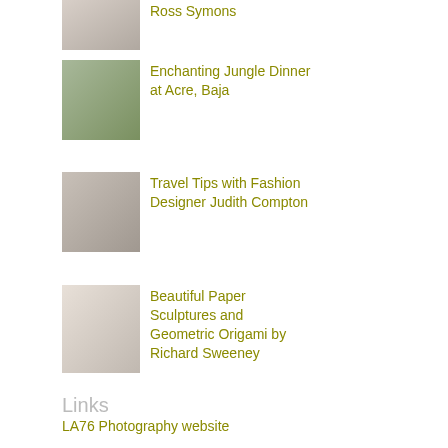Ross Symons
Enchanting Jungle Dinner at Acre, Baja
Travel Tips with Fashion Designer Judith Compton
Beautiful Paper Sculptures and Geometric Origami by Richard Sweeney
Links
LA76 Photography website
LA76 PR & Social Media Blog
Calendar